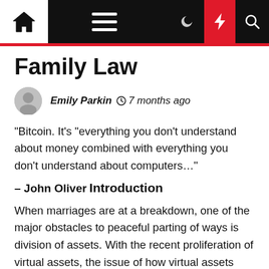Family Law — navigation bar with home, menu, dark mode, flash, search icons
Family Law
Emily Parkin  7 months ago
“Bitcoin. It’s “everything you don’t understand about money combined with everything you don’t understand about computers…”
– John Oliver
Introduction
When marriages are at a breakdown, one of the major obstacles to peaceful parting of ways is division of assets. With the recent proliferation of virtual assets, the issue of how virtual assets (e.g., Bitcoins, Cryptocurrencies, NFT Artworks, etc.) can